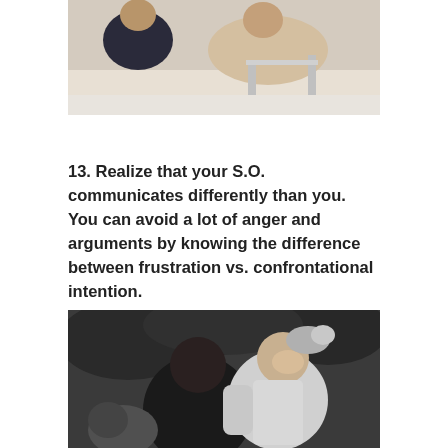[Figure (photo): Black and white photo of a couple on a sailboat, man in dark jacket and woman in light clothing leaning on the boat railing]
13. Realize that your S.O. communicates differently than you. You can avoid a lot of anger and arguments by knowing the difference between frustration vs. confrontational intention.
[Figure (photo): Black and white wedding photo of a couple embracing, bride wearing floral hair piece holding a bouquet, groom kissing her cheek as she smiles]